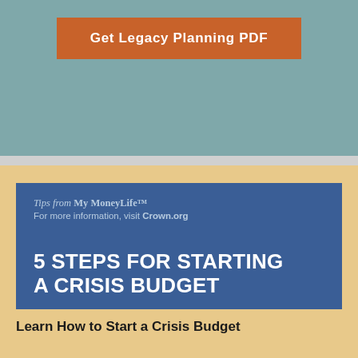[Figure (other): Orange call-to-action button on teal background reading 'Get Legacy Planning PDF']
[Figure (other): Blue card with italic 'Tips from My MoneyLife™' and 'For more information, visit Crown.org' text, and large heading '5 STEPS FOR STARTING A CRISIS BUDGET']
Learn How to Start a Crisis Budget